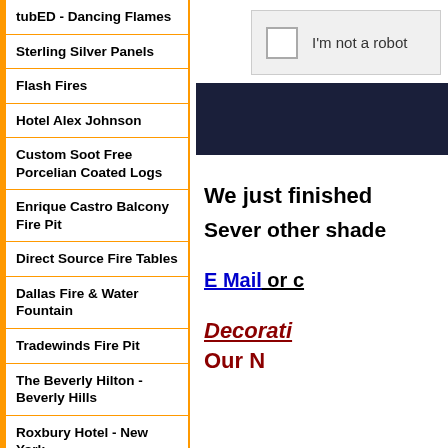tubED - Dancing Flames
Sterling Silver Panels
Flash Fires
Hotel Alex Johnson
Custom Soot Free Porcelian Coated Logs
Enrique Castro Balcony Fire Pit
Direct Source Fire Tables
Dallas Fire & Water Fountain
Tradewinds Fire Pit
The Beverly Hilton - Beverly Hills
Roxbury Hotel - New York
Dave Little's Fire Table
Paul Hammel's Corten
[Figure (screenshot): CAPTCHA widget with checkbox and 'I'm not a robot' text, followed by dark navy block]
We just finished
Sever other shade
E Mail or c
Decorati
Our N